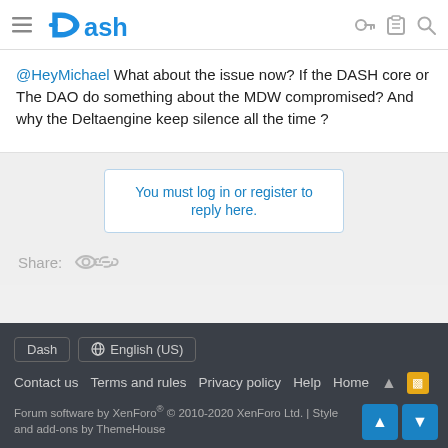Dash
@HeyMichael What about the issue now? If the DASH core or The DAO do something about the MDW compromised? And why the Deltaengine keep silence all the time ?
You must log in or register to reply here.
Share:
Dash | English (US) | Contact us | Terms and rules | Privacy policy | Help | Home | Forum software by XenForo® © 2010-2020 XenForo Ltd. | Style and add-ons by ThemeHouse